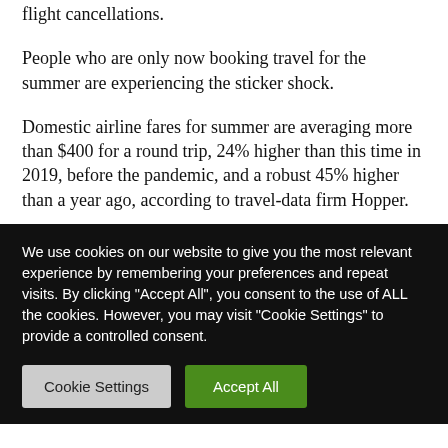flight cancellations.
People who are only now booking travel for the summer are experiencing the sticker shock.
Domestic airline fares for summer are averaging more than $400 for a round trip, 24% higher than this time in 2019, before the pandemic, and a robust 45% higher than a year ago, according to travel-data firm Hopper.
We use cookies on our website to give you the most relevant experience by remembering your preferences and repeat visits. By clicking "Accept All", you consent to the use of ALL the cookies. However, you may visit "Cookie Settings" to provide a controlled consent.